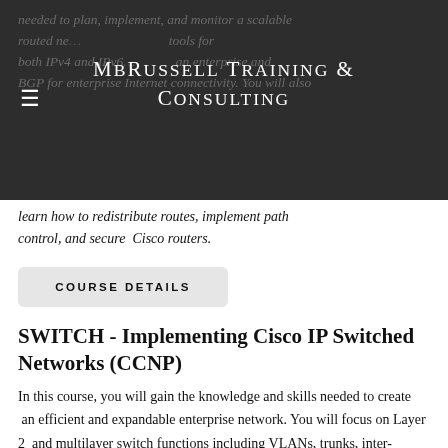MBRussell Training & Consulting
needed to plan, implement, and monitor a scalable routed ne... tools for both IPv4 and IPv6... an enterprise and BGP for enterprise Internet connectivity. You will also learn how to redistribute routes, implement path control, and secure Cisco routers.
COURSE DETAILS
SWITCH - Implementing Cisco IP Switched Networks (CCNP)
In this course, you will gain the knowledge and skills needed to create an efficient and expandable enterprise network. You will focus on Layer 2 and multilayer switch functions including VLANs, trunks, inter-VLAN routing, port aggregation, spanning tree, first hop redundancy, as